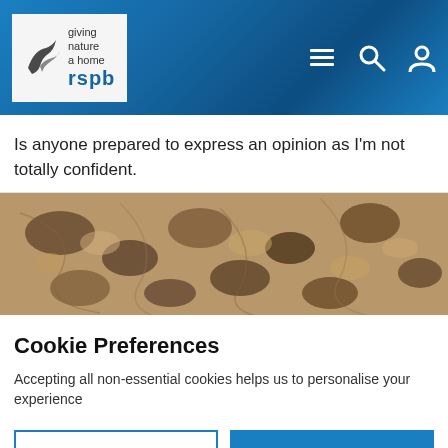[Figure (logo): RSPB logo with bird silhouette and tagline 'giving nature a home' on grey/white background]
[Figure (screenshot): RSPB website header with blue textured background and navigation icons (hamburger menu, search, user profile)]
Is anyone prepared to express an opinion as I'm not totally confident.
[Figure (photo): Close-up photo of a rough, textured brown and tan natural surface, possibly lichen or bark]
Cookie Preferences
Accepting all non-essential cookies helps us to personalise your experience
EDIT SETTINGS
ACCEPT ALL